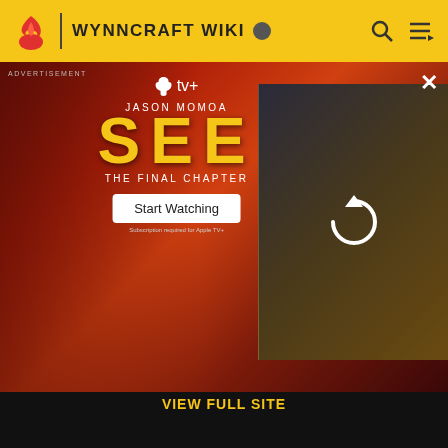WYNNCRAFT WIKI
[Figure (screenshot): Apple TV+ advertisement for Jason Momoa's SEE: The Final Chapter with Start Watching button and video thumbnail panel]
Take your favorite fandoms with you and never miss a beat.
[Figure (logo): Fandom app icon - flame/fire logo with heart on cream background]
[Figure (other): Download on the App Store button]
[Figure (other): GET IT ON Google Play button]
Wynncraft Wiki is a FANDOM Games Community.
VIEW FULL SITE